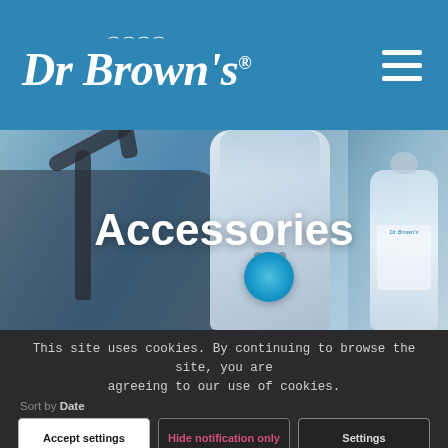Dr Brown's
[Figure (photo): Hero image showing a bottle warmer device next to a baby bottle, with a kitchen sink and faucet blurred in the background. Blue-toned photograph.]
Accessories
This site uses cookies. By continuing to browse the site, you are agreeing to our use of cookies.
Sort by Date
Accept settings
Hide notification only
Settings